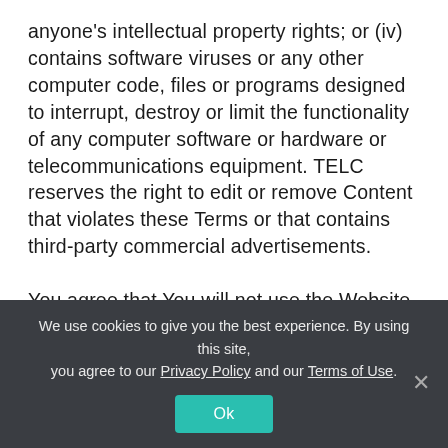anyone's intellectual property rights; or (iv) contains software viruses or any other computer code, files or programs designed to interrupt, destroy or limit the functionality of any computer software or hardware or telecommunications equipment. TELC reserves the right to edit or remove Content that violates these Terms or that contains third-party commercial advertisements.

You agree that You will not use the Website to: (i) transmit spam, bulk or unsolicited communications; (ii) pretend to be TELC or someone else, or spoof TELC's or someone else's
We use cookies to give you the best experience. By using this site, you agree to our Privacy Policy and our Terms of Use.